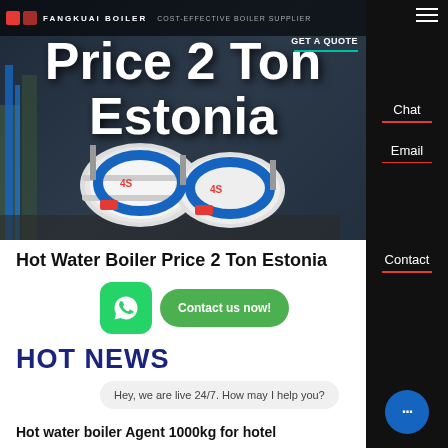[Figure (screenshot): Hero banner of FANGKUAI Boiler website showing industrial boilers, dark background, with logo and tagline 'COST-EFFECTIVE BOILER SUPPLIER']
Price 2 Ton Estonia
Hot Water Boiler Price 2 Ton Estonia
[Figure (logo): WhatsApp green icon button and green 'Contact us now!' button]
HOT NEWS
Hey, we are live 24/7. How may I help you?
Hot water boiler Agent 1000kg for hotel